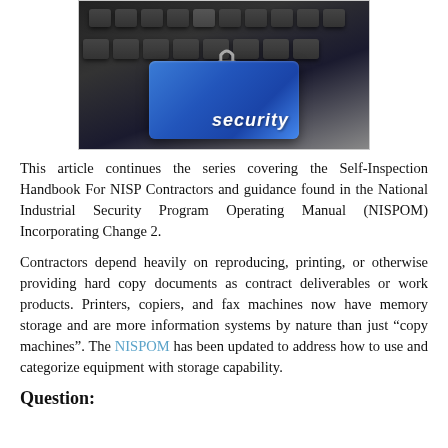[Figure (photo): A blue keyboard key labeled 'security' with a padlock resting on it, surrounded by dark keyboard keys.]
This article continues the series covering the Self-Inspection Handbook For NISP Contractors and guidance found in the National Industrial Security Program Operating Manual (NISPOM) Incorporating Change 2.
Contractors depend heavily on reproducing, printing, or otherwise providing hard copy documents as contract deliverables or work products. Printers, copiers, and fax machines now have memory storage and are more information systems by nature than just “copy machines”. The NISPOM has been updated to address how to use and categorize equipment with storage capability.
Question: